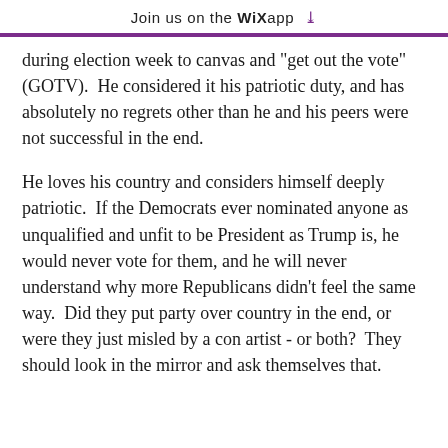Join us on the WiX app ↓
during election week to canvas and "get out the vote" (GOTV).  He considered it his patriotic duty, and has absolutely no regrets other than he and his peers were not successful in the end.
He loves his country and considers himself deeply patriotic.  If the Democrats ever nominated anyone as unqualified and unfit to be President as Trump is, he would never vote for them, and he will never understand why more Republicans didn't feel the same way.  Did they put party over country in the end, or were they just misled by a con artist - or both?  They should look in the mirror and ask themselves that.